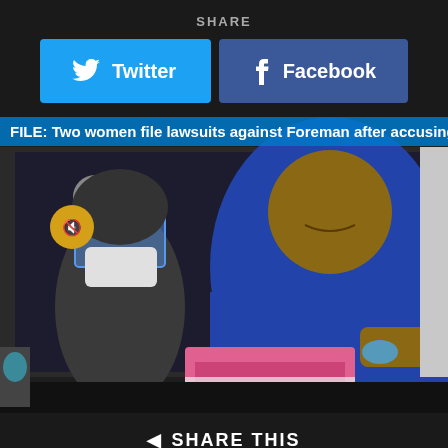SHARE
[Figure (screenshot): Twitter and Facebook share buttons on dark background]
[Figure (photo): Video screenshot: FILE: Two women file lawsuits against Foreman after accusing boxing legend... A large man in a blue shirt smiling while receiving a vaccination at a UTHealth clinic, with a masked healthcare worker beside him.]
◄ SHARE THIS